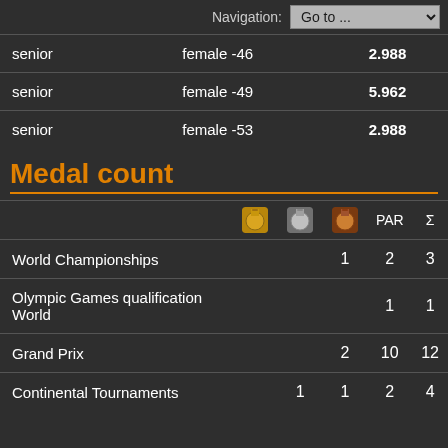Navigation: Go to ...
|  |  |  |
| --- | --- | --- |
| senior | female -46 | 2.988 |
| senior | female -49 | 5.962 |
| senior | female -53 | 2.988 |
Medal count
|  | 🥇 | 🥈 | 🥉 | PAR | Σ |
| --- | --- | --- | --- | --- | --- |
| World Championships |  |  | 1 | 2 | 3 |
| Olympic Games qualification World |  |  |  | 1 | 1 |
| Grand Prix |  |  | 2 | 10 | 12 |
| Continental Tournaments |  | 1 | 1 | 2 | 4 |